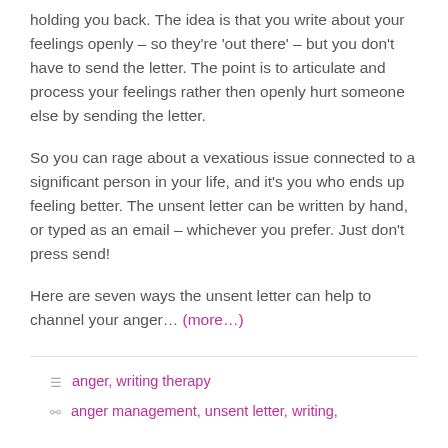holding you back. The idea is that you write about your feelings openly – so they're 'out there' – but you don't have to send the letter. The point is to articulate and process your feelings rather then openly hurt someone else by sending the letter.
So you can rage about a vexatious issue connected to a significant person in your life, and it's you who ends up feeling better. The unsent letter can be written by hand, or typed as an email – whichever you prefer. Just don't press send!
Here are seven ways the unsent letter can help to channel your anger… (more…)
anger, writing therapy
anger management, unsent letter, writing,